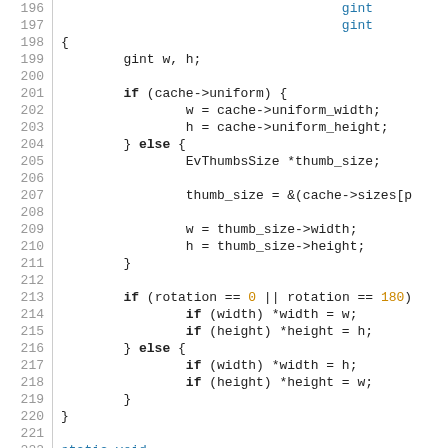[Figure (screenshot): Source code snippet in C showing function body with conditional branches for cache uniform/non-uniform size lookup and rotation handling, followed by a static void function declaration. Lines 196-226 visible.]